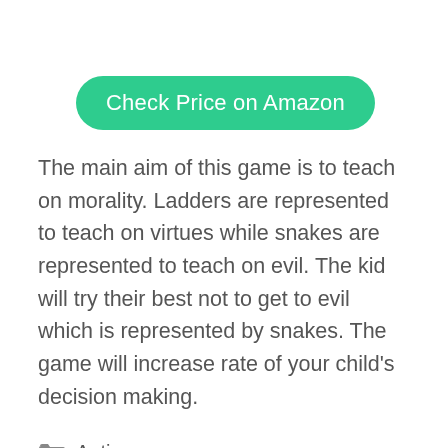[Figure (other): Green rounded button labeled 'Check Price on Amazon']
The main aim of this game is to teach on morality. Ladders are represented to teach on virtues while snakes are represented to teach on evil. The kid will try their best not to get to evil which is represented by snakes. The game will increase rate of your child’s decision making.
Autism